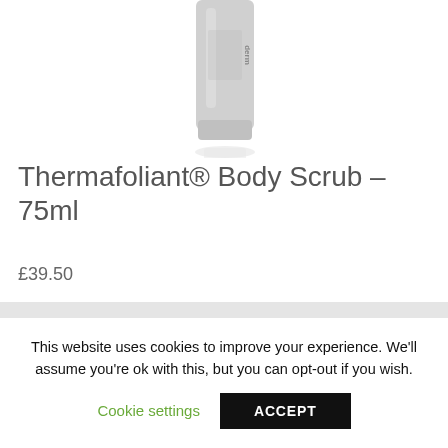[Figure (photo): Gray/white skincare product bottle (Dermalogica Thermafoliant Body Scrub tube) against white background, partially cropped at top]
Thermafoliant® Body Scrub – 75ml
£39.50
This website uses cookies to improve your experience. We'll assume you're ok with this, but you can opt-out if you wish.
Cookie settings
ACCEPT